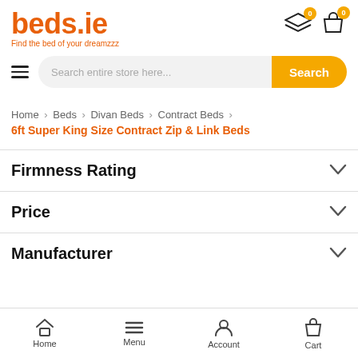[Figure (logo): beds.ie logo with tagline 'Find the bed of your dreamzzz']
[Figure (screenshot): Header icons: layers icon with orange badge '0', shopping bag icon with orange badge '0']
[Figure (infographic): Search bar with hamburger menu, placeholder text 'Search entire store here...', and orange Search button]
Home > Beds > Divan Beds > Contract Beds >
6ft Super King Size Contract Zip & Link Beds
Firmness Rating
Price
Manufacturer
[Figure (infographic): Bottom navigation bar with Home, Menu, Account, Cart icons]